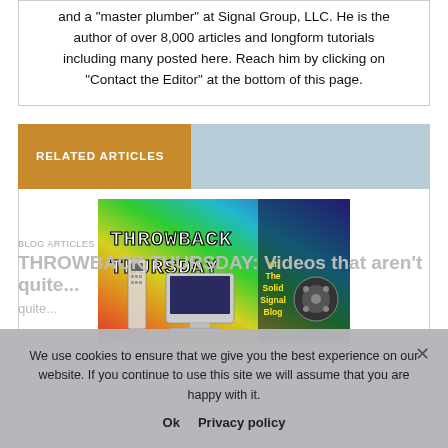and a "master plumber" at Signal Group, LLC. He is the author of over 8,000 articles and longform tutorials including many posted here. Reach him by clicking on "Contact the Editor" at the bottom of this page.
RELATED ARTICLES
[Figure (illustration): Throwback Thursday banner image with colorful rainbow background showing retro electronics: old mobile phone, CRT monitor/computer, keyboard, and reel-to-reel tape player. Text reads 'THROWBACK THURSDAY at The Solid Signal Blog' in pixel/retro style font.]
We use cookies to ensure that we give you the best experience on our website. If you continue to use this site we will assume that you are happy with it.
Ok   Privacy policy